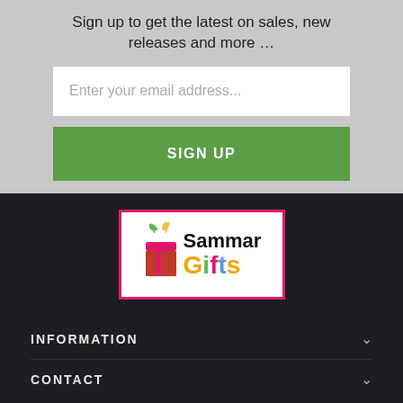Sign up to get the latest on sales, new releases and more …
Enter your email address...
SIGN UP
[Figure (logo): Sammar Gifts logo with colorful text and gift icon, pink border on white background]
INFORMATION
CONTACT